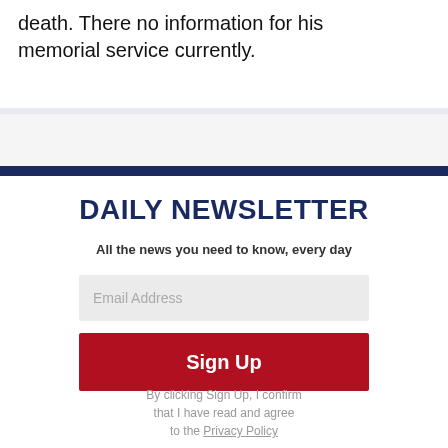death. There no information for his memorial service currently.
DAILY NEWSLETTER
All the news you need to know, every day
Email Address
Sign Up
By clicking Sign Up, I confirm that I have read and agree to the Privacy Policy